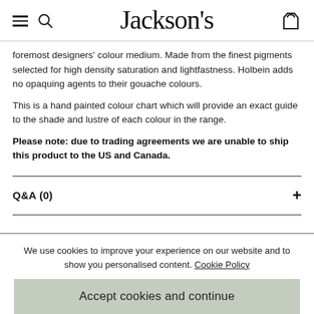Jackson's
foremost designers' colour medium. Made from the finest pigments selected for high density saturation and lightfastness. Holbein adds no opaquing agents to their gouache colours.
This is a hand painted colour chart which will provide an exact guide to the shade and lustre of each colour in the range.
Please note: due to trading agreements we are unable to ship this product to the US and Canada.
Q&A (0)
SPEC
We use cookies to improve your experience on our website and to show you personalised content. Cookie Policy
Accept cookies and continue